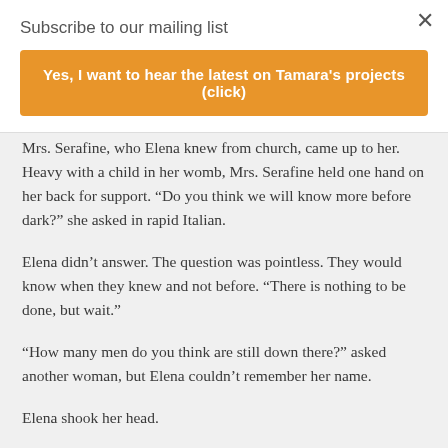Subscribe to our mailing list
Yes, I want to hear the latest on Tamara's projects (click)
Mrs. Serafine, who Elena knew from church, came up to her. Heavy with a child in her womb, Mrs. Serafine held one hand on her back for support. “Do you think we will know more before dark?” she asked in rapid Italian.
Elena didn’t answer. The question was pointless. They would know when they knew and not before. “There is nothing to be done, but wait.”
“How many men do you think are still down there?” asked another woman, but Elena couldn’t remember her name.
Elena shook her head.
“I heard two hundred, maybe more. What will I do if Anselmo is